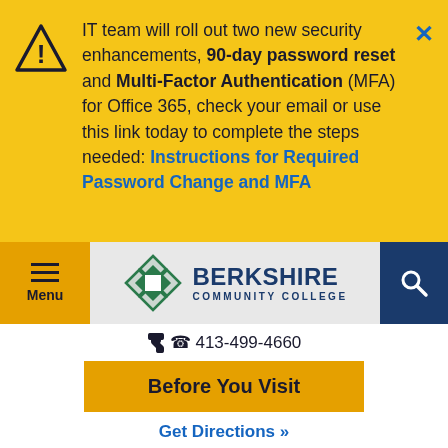IT team will roll out two new security enhancements, 90-day password reset and Multi-Factor Authentication (MFA) for Office 365, check your email or use this link today to complete the steps needed: Instructions for Required Password Change and MFA
[Figure (logo): Berkshire Community College logo with green knotwork emblem and blue text]
413-499-4660
Before You Visit
Get Directions »